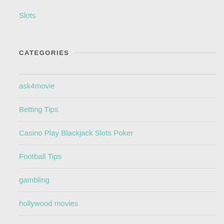Slots
CATEGORIES
ask4movie
Betting Tips
Casino Play Blackjack Slots Poker
Football Tips
gambling
hollywood movies
joker123